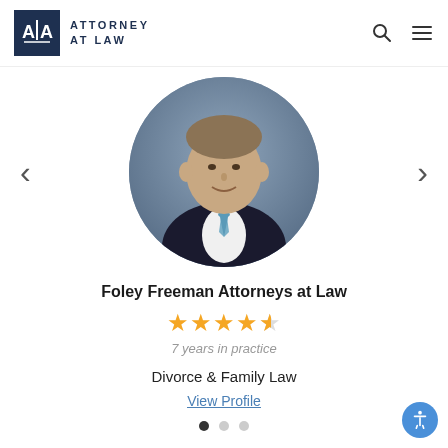ATTORNEY AT LAW
[Figure (photo): Headshot of a young male attorney in a dark suit and blue striped tie, circular crop]
Foley Freeman Attorneys at Law
7 years in practice
Divorce & Family Law
View Profile